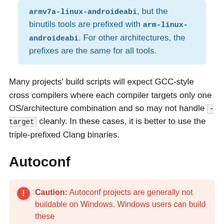armv7a-linux-androideabi, but the binutils tools are prefixed with arm-linux-androideabi. For other architectures, the prefixes are the same for all tools.
Many projects' build scripts will expect GCC-style cross compilers where each compiler targets only one OS/architecture combination and so may not handle -target cleanly. In these cases, it is better to use the triple-prefixed Clang binaries.
Autoconf
Caution: Autoconf projects are generally not buildable on Windows. Windows users can build these